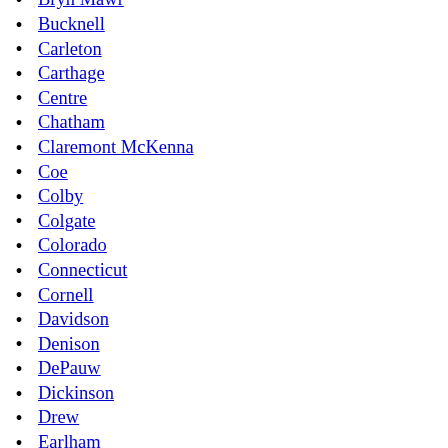Bryn Mawr
Bucknell
Carleton
Carthage
Centre
Chatham
Claremont McKenna
Coe
Colby
Colgate
Colorado
Connecticut
Cornell
Davidson
Denison
DePauw
Dickinson
Drew
Earlham
Eckerd
Franklin & Marshall
Furman
Gettysburg
Gordon
Goucher